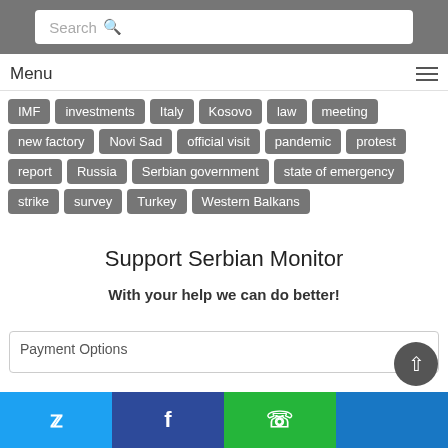Search
Menu
IMF
investments
Italy
Kosovo
law
meeting
new factory
Novi Sad
official visit
pandemic
protest
report
Russia
Serbian government
state of emergency
strike
survey
Turkey
Western Balkans
Support Serbian Monitor
With your help we can do better!
Payment Options
Twitter | Facebook | WhatsApp | Other